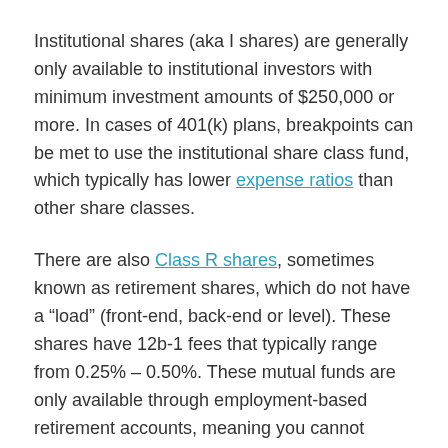Institutional shares (aka I shares) are generally only available to institutional investors with minimum investment amounts of $250,000 or more. In cases of 401(k) plans, breakpoints can be met to use the institutional share class fund, which typically has lower expense ratios than other share classes.
There are also Class R shares, sometimes known as retirement shares, which do not have a "load" (front-end, back-end or level). These shares have 12b-1 fees that typically range from 0.25% – 0.50%. These mutual funds are only available through employment-based retirement accounts, meaning you cannot purchase them on the open market. Often carrying annual expenses, Class R shares are intended to provide income in future years rather than short-term lump-sum payments.